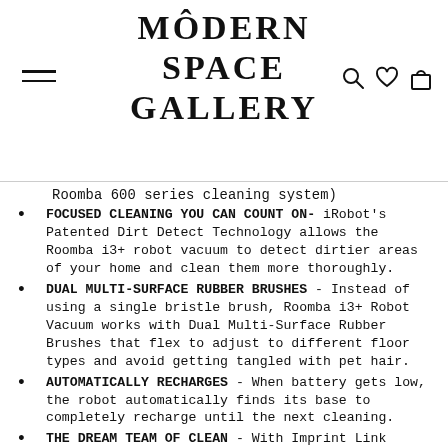[Figure (logo): Modern Space Gallery logo with hamburger menu icon on left and search, heart, bag icons on right]
Roomba 600 series cleaning system)
FOCUSED CLEANING YOU CAN COUNT ON- iRobot's Patented Dirt Detect Technology allows the Roomba i3+ robot vacuum to detect dirtier areas of your home and clean them more thoroughly.
DUAL MULTI-SURFACE RUBBER BRUSHES - Instead of using a single bristle brush, Roomba i3+ Robot Vacuum works with Dual Multi-Surface Rubber Brushes that flex to adjust to different floor types and avoid getting tangled with pet hair.
AUTOMATICALLY RECHARGES - When battery gets low, the robot automatically finds its base to completely recharge until the next cleaning.
THE DREAM TEAM OF CLEAN - With Imprint Link Technology, the Roomba i3+ robot vacuum and Braava jet m6 robot mop team up to vacuum then mop automatically in